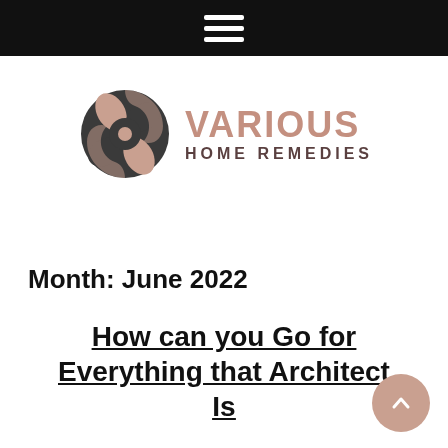[Figure (logo): Various Home Remedies logo: circular swirl icon in dark grey and dusty rose, with text VARIOUS HOME REMEDIES]
Month: June 2022
How can you Go for Everything that Architect Is